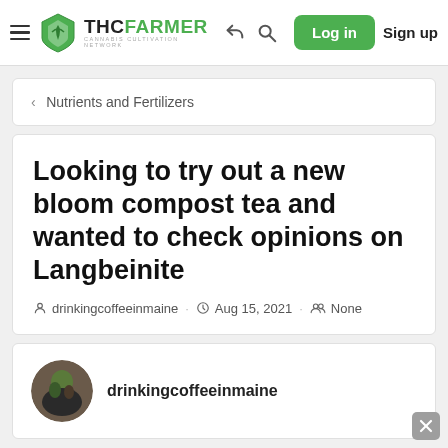THC FARMER | Cannabis Cultivation Network — navigation bar with Log in and Sign up
< Nutrients and Fertilizers
Looking to try out a new bloom compost tea and wanted to check opinions on Langbeinite
drinkingcoffeeinmaine · Aug 15, 2021 · None
drinkingcoffeeinmaine